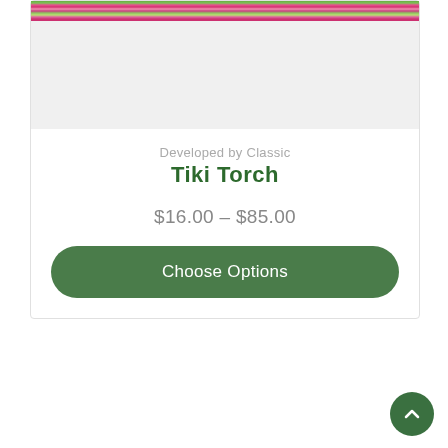[Figure (photo): Top portion of a product card showing colorful caladium or tropical plant flowers (pink, red, green) at the very top, cropped into a grey placeholder area below]
Developed by Classic
Tiki Torch
$16.00 – $85.00
Choose Options